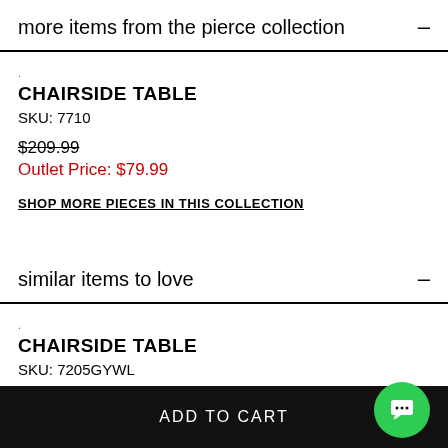more items from the pierce collection
CHAIRSIDE TABLE
SKU: 7710
$209.99
Outlet Price: $79.99
SHOP MORE PIECES IN THIS COLLECTION
similar items to love
CHAIRSIDE TABLE
SKU: 7205GYWL
ADD TO CART